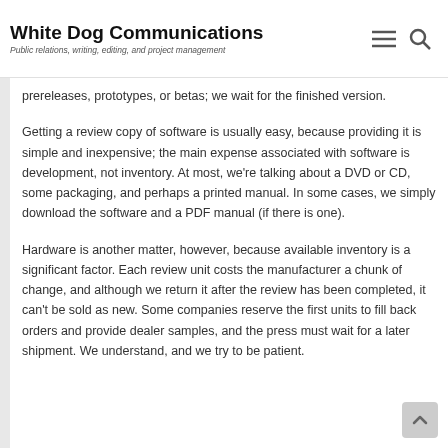White Dog Communications
Public relations, writing, editing, and project management
prereleases, prototypes, or betas; we wait for the finished version.
Getting a review copy of software is usually easy, because providing it is simple and inexpensive; the main expense associated with software is development, not inventory. At most, we're talking about a DVD or CD, some packaging, and perhaps a printed manual. In some cases, we simply download the software and a PDF manual (if there is one).
Hardware is another matter, however, because available inventory is a significant factor. Each review unit costs the manufacturer a chunk of change, and although we return it after the review has been completed, it can't be sold as new. Some companies reserve the first units to fill back orders and provide dealer samples, and the press must wait for a later shipment. We understand, and we try to be patient.